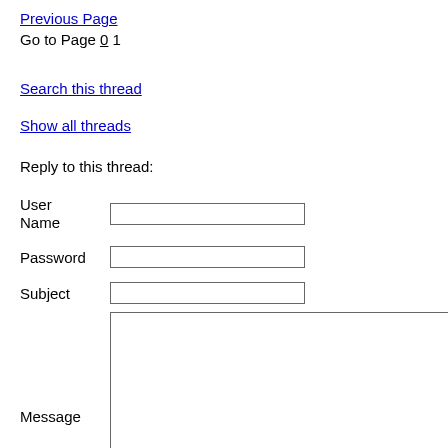Previous Page
Go to Page 0 1
Search this thread
Show all threads
Reply to this thread:
User Name
Password
Subject
Message